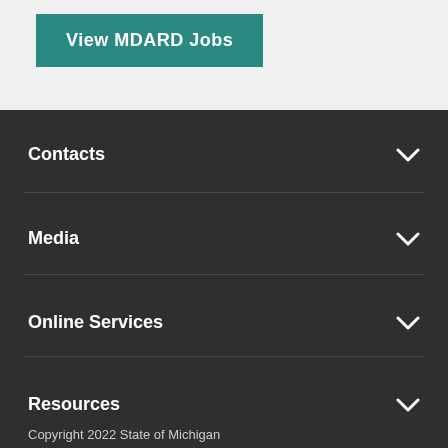View MDARD Jobs
Contacts
Media
Online Services
Resources
Copyright 2022 State of Michigan